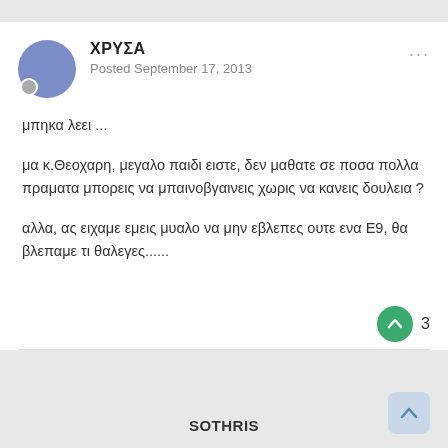ΧΡΥΣΑ
Posted September 17, 2013
μπηκα λεει ...
μα κ.Θεοχαρη, μεγαλο παιδι ειστε, δεν μαθατε σε ποσα πολλα πραματα μπορεις να μπαινοβγαινεις χωρις να κανεις δουλεια ?
αλλα, ας ειχαμε εμεις μυαλο να μην εβλεπες ουτε ενα Ε9, θα βλεπαμε τι θαλεγες......
3
SOTHRIS